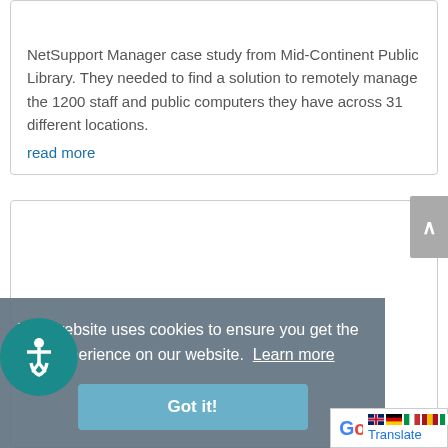Library
NetSupport Manager case study from Mid-Continent Public Library. They needed to find a solution to remotely manage the 1200 staff and public computers they have across 31 different locations.
read more
[Figure (other): Empty white card/panel]
This website uses cookies to ensure you get the best experience on our website. Learn more
Got it!
[Figure (logo): Google Translate logo with language flags]
[Figure (illustration): Accessibility icon button (wheelchair symbol on teal circle)]
[Figure (other): Scroll to top button with upward arrow]